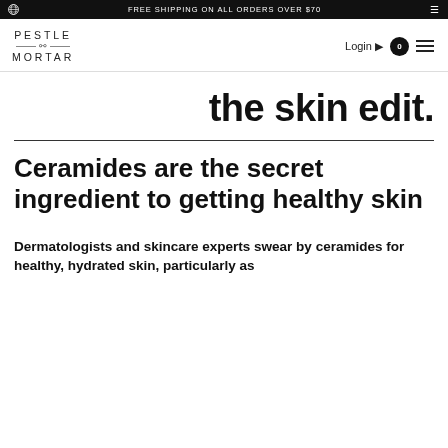FREE SHIPPING ON ALL ORDERS OVER $70
[Figure (logo): Pestle & Mortar logo with globe icon and navigation bar including Login, cart with 0 items, and hamburger menu]
the skin edit.
Ceramides are the secret ingredient to getting healthy skin
Dermatologists and skincare experts swear by ceramides for healthy, hydrated skin, particularly as